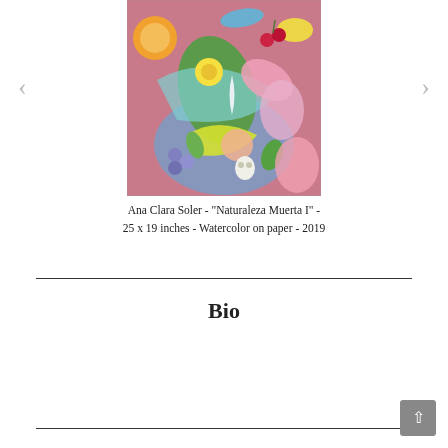[Figure (illustration): Colorful watercolor painting of a still life with fruits, flowers, and foliage arranged in an abstract style. Features reds, pinks, yellows, greens, and blues.]
Ana Clara Soler  -  "Naturaleza Muerta I"  -  25 x 19 inches  -  Watercolor on paper  -  2019
Bio